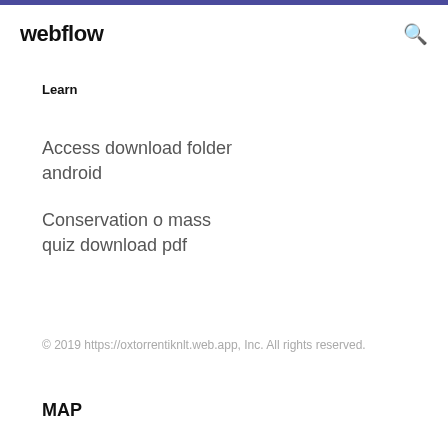webflow
Learn
Access download folder android
Conservation o mass quiz download pdf
© 2019 https://oxtorrentiknlt.web.app, Inc. All rights reserved.
MAP